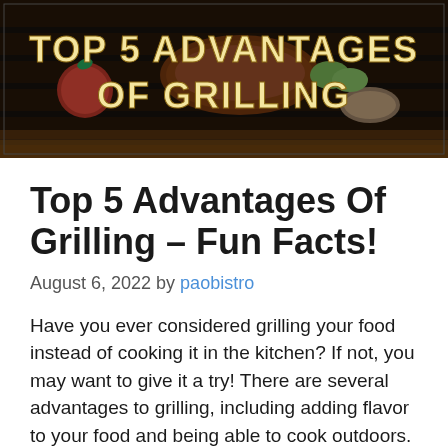[Figure (photo): Banner image of food on a grill with text 'TOP 5 ADVANTAGES OF GRILLING' overlaid in large bold cream/yellow letters]
Top 5 Advantages Of Grilling – Fun Facts!
August 6, 2022 by paobistro
Have you ever considered grilling your food instead of cooking it in the kitchen? If not, you may want to give it a try! There are several advantages to grilling, including adding flavor to your food and being able to cook outdoors. Keep reading to learn more about the benefits of grilling your next meal. Who knows, you might just become a grill